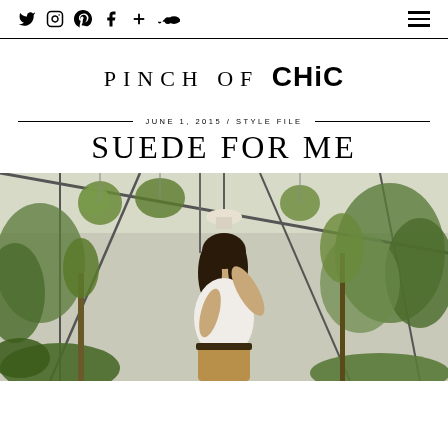Social icons: Twitter, Instagram, Pinterest, Facebook, Google+, SoundCloud | Hamburger menu
PINCH OF CHIC
JUNE 1, 2015 / STYLE FILE
SUEDE FOR ME
[Figure (photo): Woman in a greenhouse/conservatory setting wearing a white shirt and suede skirt with a belt, posing among hanging plants and greenery]